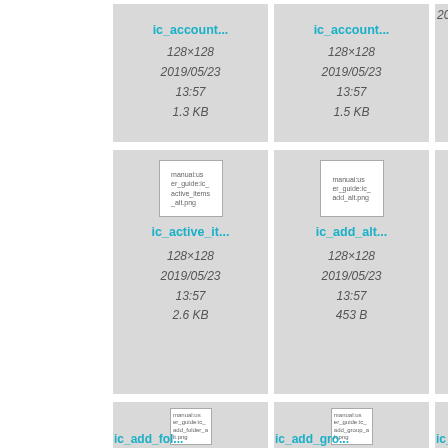[Figure (screenshot): File browser grid view showing image file tiles. Row 1 (partial, top cut off): ic_account... (128x128, 2019/05/23 13:57, 1.3 KB), ic_account... (128x128, 2019/05/23 13:57, 1.5 KB), ic_... (partial). Row 2: ic_active_items_alt.png thumbnail, ic_active_it... (128x128, 2019/05/23 13:57, 2.6 KB); ic_add_alt.png thumbnail, ic_add_alt... (128x128, 2019/05/23 13:57, 453 B); ic_... partial. Row 3 (partial bottom): ic_add_folder_alt.png thumbnail, ic_add_fol...; ic_add_group_alt.png thumbnail, ic_add_gro...; ic_... partial.]